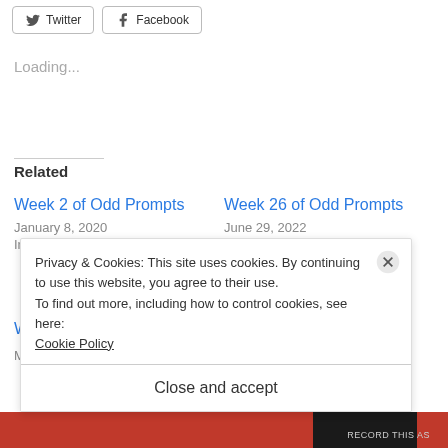[Figure (other): Twitter and Facebook share buttons]
Loading...
Related
Week 2 of Odd Prompts
January 8, 2020
In "Weekly Prompt Challenge"
Week 26 of Odd Prompts
June 29, 2022
In "Weekly Prompt Challenge"
Week 13 of Odd Prompts
Privacy & Cookies: This site uses cookies. By continuing to use this website, you agree to their use.
To find out more, including how to control cookies, see here:
Cookie Policy
Close and accept